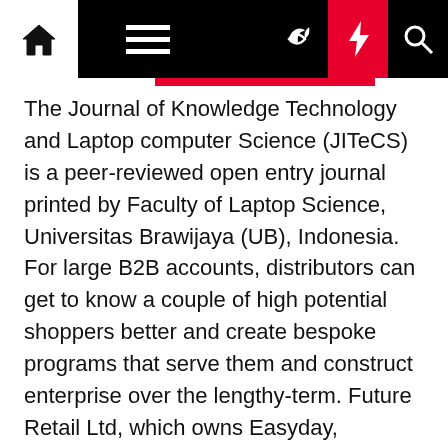Navigation bar with home, menu, moon, lightning, and search icons
The Journal of Knowledge Technology and Laptop computer Science (JITeCS) is a peer-reviewed open entry journal printed by Faculty of Laptop Science, Universitas Brawijaya (UB), Indonesia. For large B2B accounts, distributors can get to know a couple of high potential shoppers better and create bespoke programs that serve them and construct enterprise over the lengthy-term. Future Retail Ltd, which owns Easyday, Massive Bazaar , HyperCity and Heritage Recent, is battling increased debt and has initiated a cost-chopping train throughout features comparable to supply chain, advertising, operation and lease, mentioned the folks cited above.
Bergantung pada tujuan strategi pemasaran mereka, digital marketer dapat membuat kampanye yang lebih besar melalui media free of value ataupun